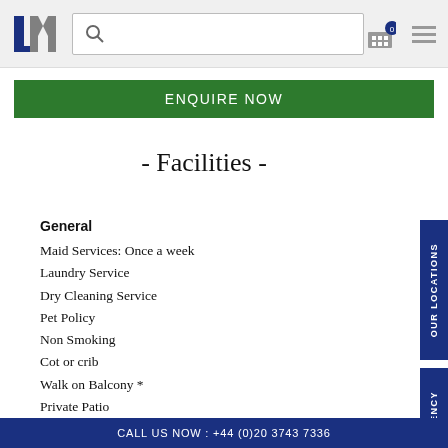JN logo, search box, building icon 0, menu icon
ENQUIRE NOW
- Facilities -
General
Maid Services: Once a week
Laundry Service
Dry Cleaning Service
Pet Policy
Non Smoking
Cot or crib
Walk on Balcony *
Private Patio
Private Garden
CALL US NOW : +44 (0)20 3743 7336